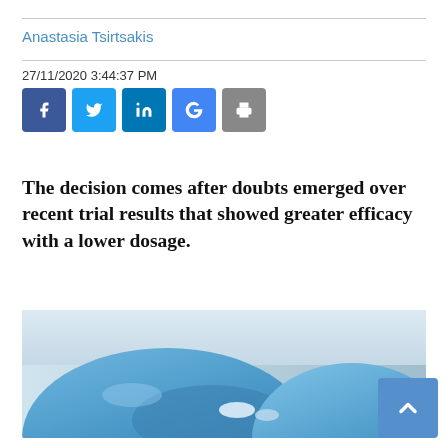Anastasia Tsirtsakis
27/11/2020 3:44:37 PM
[Figure (infographic): Social media share buttons: Facebook (blue), Twitter (blue), LinkedIn (blue), Google (blue), Print (grey)]
The decision comes after doubts emerged over recent trial results that showed greater efficacy with a lower dosage.
[Figure (photo): Close-up photo of blue-gloved hands handling medical/laboratory items]